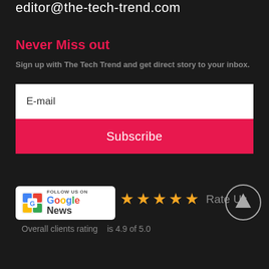editor@the-tech-trend.com
Never Miss out
Sign up with The Tech Trend and get direct story to your inbox.
E-mail
Subscribe
[Figure (logo): Google News badge with 'Follow us on Google News' text and Google News icon]
★★★★★ Rate Us
Overall clients rating   is 4.9 of 5.0
[Figure (illustration): Circular up-arrow button]